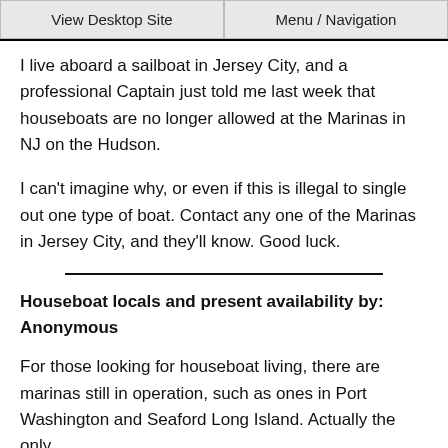View Desktop Site | Menu / Navigation
I live aboard a sailboat in Jersey City, and a professional Captain just told me last week that houseboats are no longer allowed at the Marinas in NJ on the Hudson.
I can't imagine why, or even if this is illegal to single out one type of boat. Contact any one of the Marinas in Jersey City, and they'll know. Good luck.
Houseboat locals and present availability by: Anonymous
For those looking for houseboat living, there are marinas still in operation, such as ones in Port Washington and Seaford Long Island. Actually the only